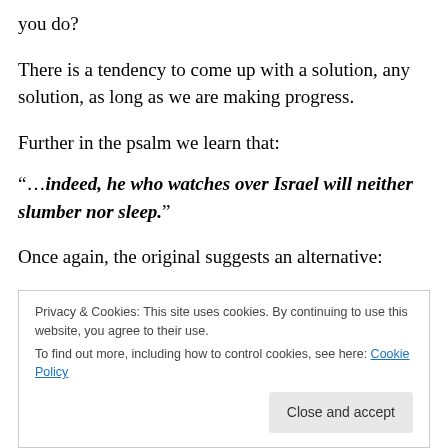you do?
There is a tendency to come up with a solution, any solution, as long as we are making progress.
Further in the psalm we learn that:
“…indeed, he who watches over Israel will neither slumber nor sleep.”
Once again, the original suggests an alternative:
Privacy & Cookies: This site uses cookies. By continuing to use this website, you agree to their use. To find out more, including how to control cookies, see here: Cookie Policy